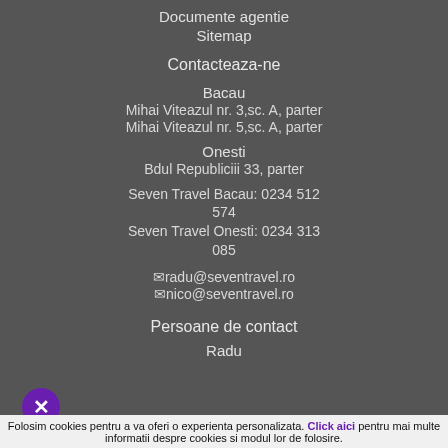Documente agentie
Sitemap
Contacteaza-ne
Bacau
Mihai Viteazul nr. 3,sc. A, parter
Mihai Viteazul nr. 5,sc. A, parter
Onesti
Bdul Republiciii 33, parter
Seven Travel Bacau: 0234 512 574
Seven Travel Onesti: 0234 313 085
radu@seventravel.ro
nico@seventravel.ro
Persoane de contact
Radu
Folosim cookies pentru a va oferi o experienta personalizata. Click aici pentru mai multe informatii despre cookies si modul lor de folosire.